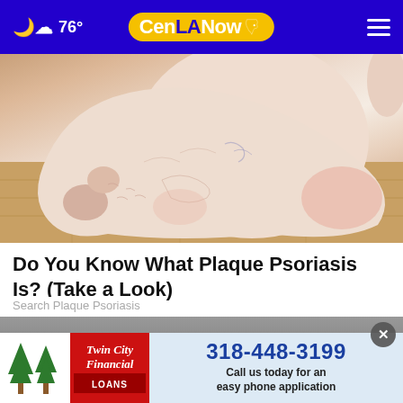76° CenLA Now
[Figure (photo): Close-up photograph of a human foot and ankle resting on a wooden floor, showing dry, cracked, and irritated skin consistent with plaque psoriasis]
Do You Know What Plaque Psoriasis Is? (Take a Look)
Search Plaque Psoriasis
[Figure (photo): Partial view of a second article image partially visible, overlaid with a Twin City Financial Loans advertisement banner showing phone number 318-448-3199 and tagline 'Call us today for an easy phone application']